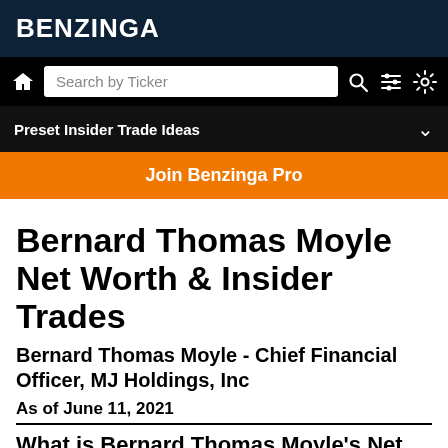BENZINGA
[Figure (screenshot): Search bar row with home icon, search box labeled 'Search by Ticker', search icon, filter icon, and settings icon on black background]
Preset Insider Trade Ideas
Join Benzinga Pro
Bernard Thomas Moyle Net Worth & Insider Trades
Bernard Thomas Moyle - Chief Financial Officer, MJ Holdings, Inc
As of June 11, 2021
What is Bernard Thomas Moyle's Net Worth?